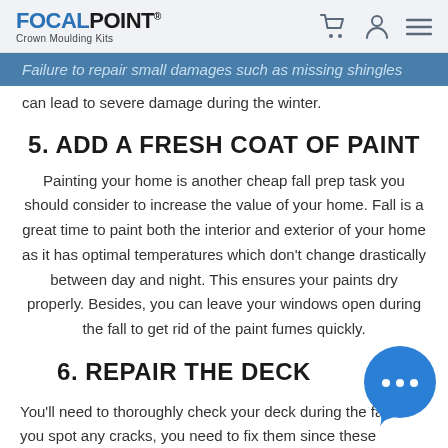FOCALPOINT® Crown Moulding Kits
Failure to repair small damages such as missing shingles can lead to severe damage during the winter.
5. ADD A FRESH COAT OF PAINT
Painting your home is another cheap fall prep task you should consider to increase the value of your home. Fall is a great time to paint both the interior and exterior of your home as it has optimal temperatures which don't change drastically between day and night. This ensures your paints dry properly. Besides, you can leave your windows open during the fall to get rid of the paint fumes quickly.
6. REPAIR THE DECK
You'll need to thoroughly check your deck during the fall. If you spot any cracks, you need to fix them since these